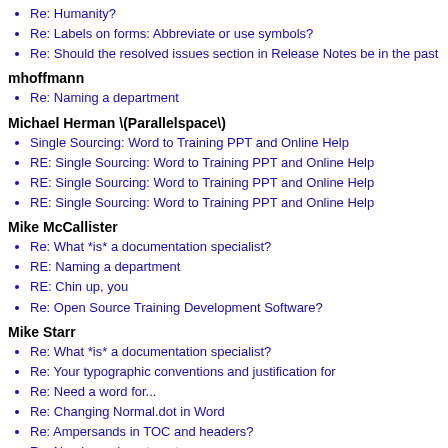Re: Humanity?
Re: Labels on forms: Abbreviate or use symbols?
Re: Should the resolved issues section in Release Notes be in the past
mhoffmann
Re: Naming a department
Michael Herman \(Parallelspace\)
Single Sourcing: Word to Training PPT and Online Help
RE: Single Sourcing: Word to Training PPT and Online Help
RE: Single Sourcing: Word to Training PPT and Online Help
RE: Single Sourcing: Word to Training PPT and Online Help
Mike McCallister
Re: What *is* a documentation specialist?
RE: Naming a department
RE: Chin up, you
Re: Open Source Training Development Software?
Mike Starr
Re: What *is* a documentation specialist?
Re: Your typographic conventions and justification for
Re: Need a word for...
Re: Changing Normal.dot in Word
Re: Ampersands in TOC and headers?
Re: Naming a department
Mike Stockman